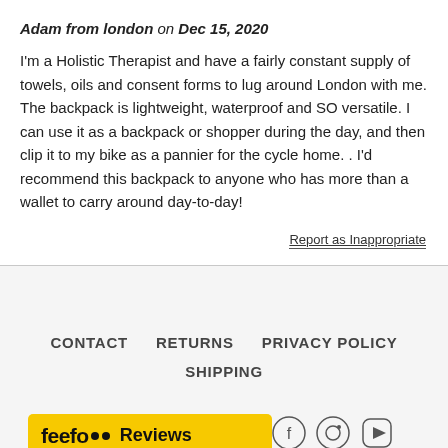Adam from london on Dec 15, 2020
I'm a Holistic Therapist and have a fairly constant supply of towels, oils and consent forms to lug around London with me. The backpack is lightweight, waterproof and SO versatile. I can use it as a backpack or shopper during the day, and then clip it to my bike as a pannier for the cycle home. . I'd recommend this backpack to anyone who has more than a wallet to carry around day-to-day!
Report as Inappropriate
CONTACT   RETURNS   PRIVACY POLICY   SHIPPING
[Figure (logo): Feefo Reviews badge - yellow background with feefo logo and Reviews text]